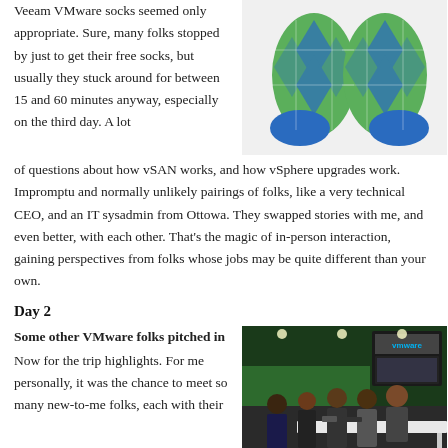Veeam VMware socks seemed only appropriate. Sure, many folks stopped by just to get their free socks, but usually they stuck around for between 15 and 60 minutes anyway, especially on the third day. A lot of questions about how vSAN works, and how vSphere upgrades work. Impromptu and normally unlikely pairings of folks, like a very technical CEO, and an IT sysadmin from Ottowa. They swapped stories with me, and even better, with each other. That's the magic of in-person interaction, gaining perspectives from folks whose jobs may be quite different than your own.
[Figure (photo): A pair of green and blue argyle patterned socks on a white background]
Day 2
Some other VMware folks pitched in
Now for the trip highlights. For me personally, it was the chance to meet so many new-to-me folks, each with their
[Figure (photo): People gathered at a VMware booth/station at what appears to be a tech conference, with VMware branding visible and a presentation screen]